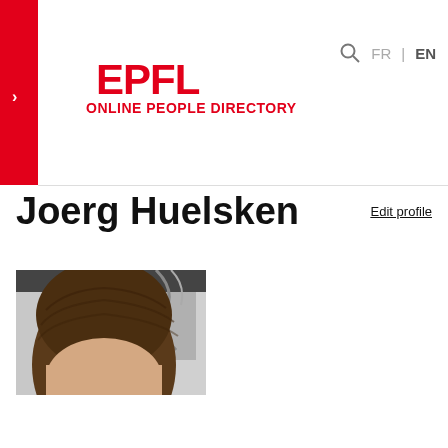EPFL ONLINE PEOPLE DIRECTORY
Joerg Huelsken
Edit profile
[Figure (photo): Partial profile photo of Joerg Huelsken showing top of head with dark brown hair against a grey background]